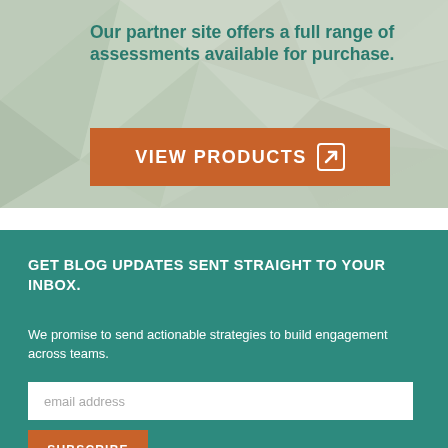Our partner site offers a full range of assessments available for purchase.
VIEW PRODUCTS ↗
GET BLOG UPDATES SENT STRAIGHT TO YOUR INBOX.
We promise to send actionable strategies to build engagement across teams.
email address
SUBSCRIBE